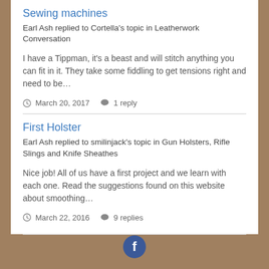Sewing machines
Earl Ash replied to Cortella's topic in Leatherwork Conversation
I have a Tippman, it's a beast and will stitch anything you can fit in it. They take some fiddling to get tensions right and need to be…
March 20, 2017   1 reply
First Holster
Earl Ash replied to smilinjack's topic in Gun Holsters, Rifle Slings and Knife Sheathes
Nice job! All of us have a first project and we learn with each one. Read the suggestions found on this website about smoothing…
March 22, 2016   9 replies
[Figure (logo): Facebook logo icon — white F on dark blue circle background]